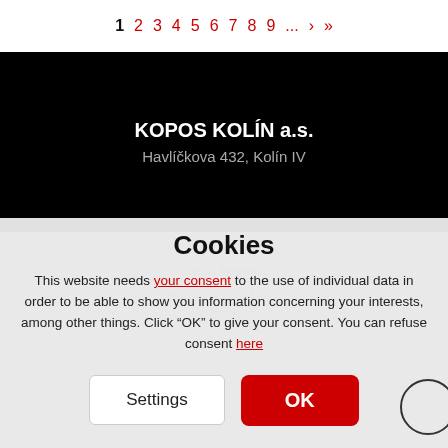1 2 3 4 5 6 7 8 9 ... › »
KOPOS KOLÍN a.s.
Havlíčkova 432, Kolín IV
Cookies
This website needs your consent to the use of individual data in order to be able to show you information concerning your interests, among other things. Click "OK" to give your consent. You can refuse consent here
Settings
OK